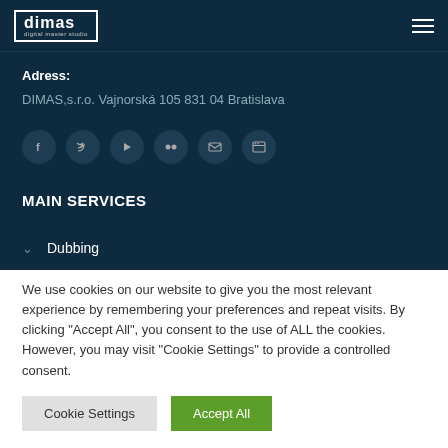[Figure (logo): dimas digital master studio logo in white text with border]
Adress:
DIMAS,s.r.o. Vajnorská 105 831 04 Bratislava
[Figure (illustration): Social media icons: Facebook, Twitter, YouTube, Flickr, Email, Website]
MAIN SERVICES
Dubbing
We use cookies on our website to give you the most relevant experience by remembering your preferences and repeat visits. By clicking "Accept All", you consent to the use of ALL the cookies. However, you may visit "Cookie Settings" to provide a controlled consent.
Cookie Settings
Accept All